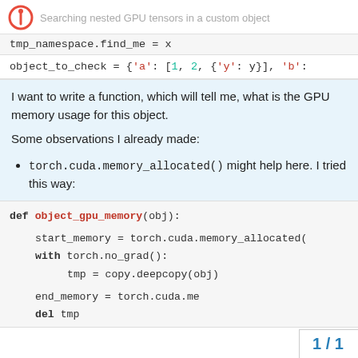Searching nested GPU tensors in a custom object
tmp_namespace.find_me = x
object_to_check = {'a': [1, 2, {'y': y}], 'b':
I want to write a function, which will tell me, what is the GPU memory usage for this object.
Some observations I already made:
torch.cuda.memory_allocated() might help here. I tried this way:
def object_gpu_memory(obj):
    start_memory = torch.cuda.memory_allocated(
    with torch.no_grad():
        tmp = copy.deepcopy(obj)

    end_memory = torch.cuda.me
    del tmp
1 / 1